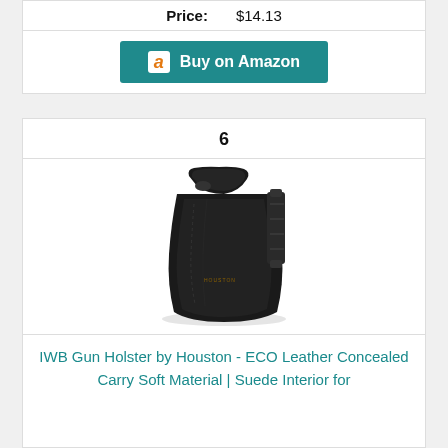Price: $14.13
[Figure (other): Buy on Amazon button with Amazon logo]
6
[Figure (photo): IWB gun holster product photo — black leather/ECO leather concealed carry holster with belt clip]
IWB Gun Holster by Houston - ECO Leather Concealed Carry Soft Material | Suede Interior for